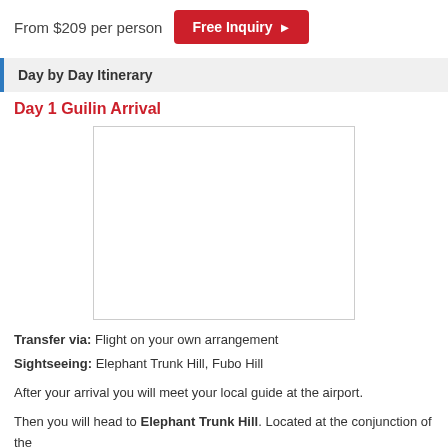From $209 per person
Free Inquiry ▶
Day by Day Itinerary
Day 1 Guilin Arrival
[Figure (photo): Placeholder image for Day 1 Guilin Arrival]
Transfer via: Flight on your own arrangement
Sightseeing: Elephant Trunk Hill, Fubo Hill
After your arrival you will meet your local guide at the airport.
Then you will head to Elephant Trunk Hill. Located at the conjunction of the